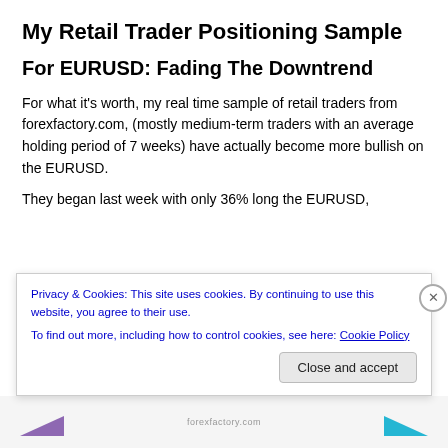My Retail Trader Positioning Sample
For EURUSD: Fading The Downtrend
For what it's worth, my real time sample of retail traders from forexfactory.com, (mostly medium-term traders with an average holding period of 7 weeks) have actually become more bullish on the EURUSD.
They began last week with only 36% long the EURUSD,
Privacy & Cookies: This site uses cookies. By continuing to use this website, you agree to their use.
To find out more, including how to control cookies, see here: Cookie Policy
Close and accept